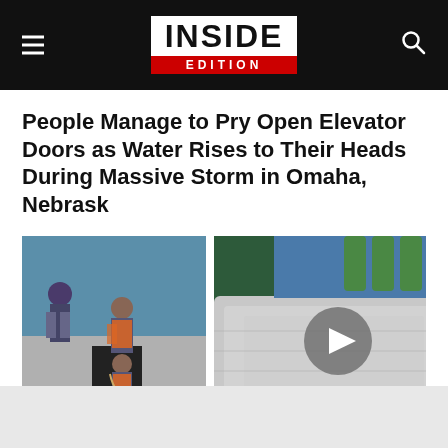INSIDE EDITION
People Manage to Pry Open Elevator Doors as Water Rises to Their Heads During Massive Storm in Omaha, Nebrask
[Figure (photo): Two rescue workers in orange vests on a dock/surface near dark water, appearing to assist someone]
[Figure (photo): Close-up of a wet mattress with green bottles/containers in the background, with a video play button overlay]